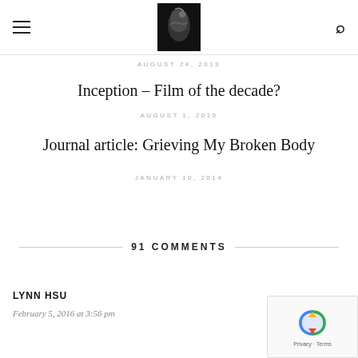AUGUST 24, 2013
Inception – Film of the decade?
AUGUST 1, 2010
Journal article: Grieving My Broken Body
JANUARY 10, 2014
91 COMMENTS
LYNN HSU
February 5, 2016 at 3:56 pm